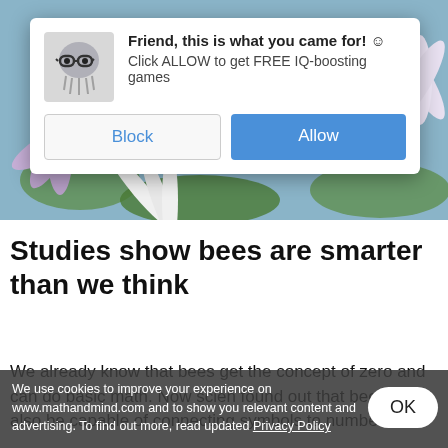[Figure (screenshot): Browser notification permission popup overlay on a flower photo background. Popup shows a jellyfish-with-glasses icon, title 'Friend, this is what you came for! :)', subtitle 'Click ALLOW to get FREE IQ-boosting games', with Block and Allow buttons.]
Studies show bees are smarter than we think
We already know that bees get the concept of zero and can do basic math. Now scien found out that bees might also be capable of connecting symbols to numbers.
We use cookies to improve your experience on www.mathandmind.com and to show you relevant content and advertising. To find out more, read updated Privacy Policy